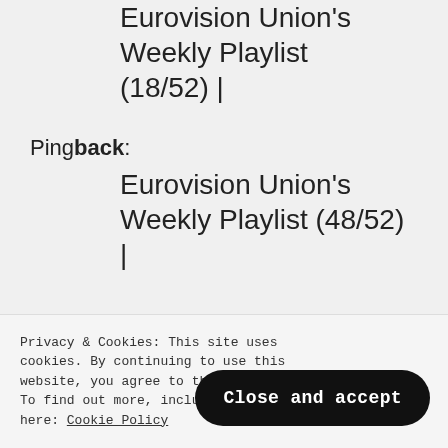Eurovision Union's Weekly Playlist (18/52) |
Pingback: Eurovision Union's Weekly Playlist (48/52) |
Privacy & Cookies: This site uses cookies. By continuing to use this website, you agree to their use. To find out more, including how to control cookies, see here: Cookie Policy
Close and accept